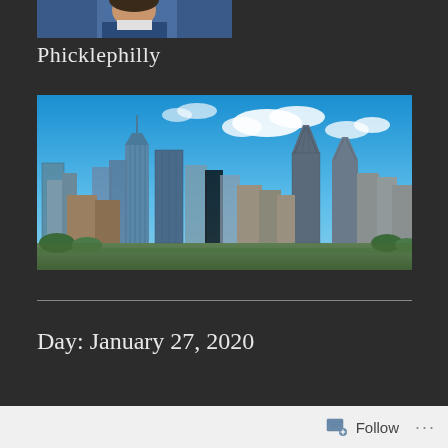[Figure (photo): Partial view of person's photo (avatar/profile picture) at top of page, cropped, showing person in blue clothing]
Phicklephilly
[Figure (photo): Philadelphia city skyline photo showing skyscrapers against a blue sky with white clouds, including recognizable buildings like One Liberty Place]
Day: January 27, 2020
Follow ...